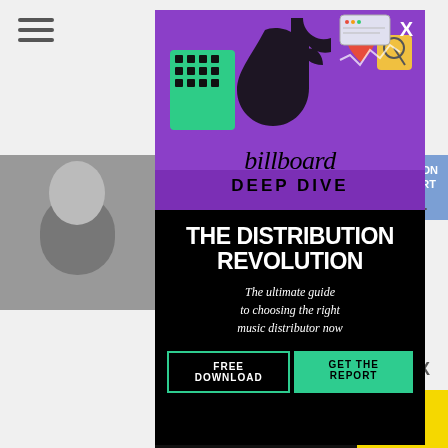[Figure (screenshot): Billboard Deep Dive advertisement overlay on a music chart webpage. Purple top section with TikTok and social media icons illustration, Billboard logo, Deep Dive heading. Black bottom section with white bold text THE DISTRIBUTION REVOLUTION, italic subtitle, green CTA buttons FREE DOWNLOAD and GET THE REPORT, and partial bottom text NOW JUST $79.]
THE DISTRIBUTION REVOLUTION
The ultimate guide to choosing the right music distributor now
FREE DOWNLOAD   GET THE REPORT
NOW JUST $79